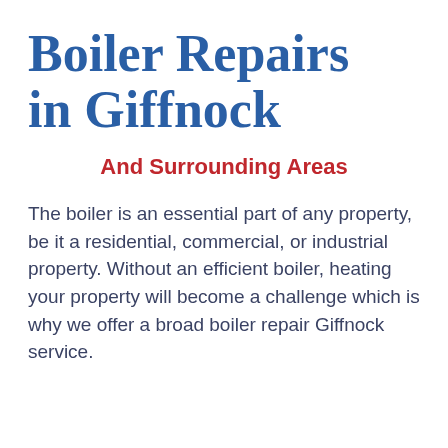Boiler Repairs in Giffnock
And Surrounding Areas
The boiler is an essential part of any property, be it a residential, commercial, or industrial property. Without an efficient boiler, heating your property will become a challenge which is why we offer a broad boiler repair Giffnock service.